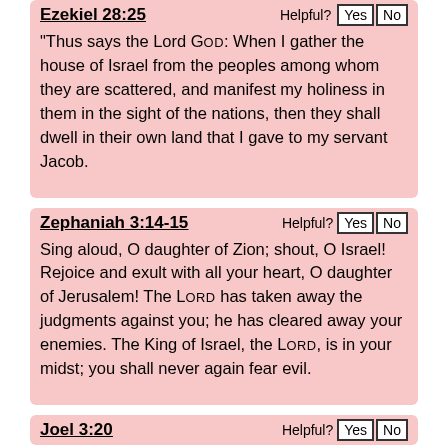Ezekiel 28:25
“Thus says the Lord God: When I gather the house of Israel from the peoples among whom they are scattered, and manifest my holiness in them in the sight of the nations, then they shall dwell in their own land that I gave to my servant Jacob.
Zephaniah 3:14-15
Sing aloud, O daughter of Zion; shout, O Israel! Rejoice and exult with all your heart, O daughter of Jerusalem! The Lord has taken away the judgments against you; he has cleared away your enemies. The King of Israel, the Lord, is in your midst; you shall never again fear evil.
Joel 3:20